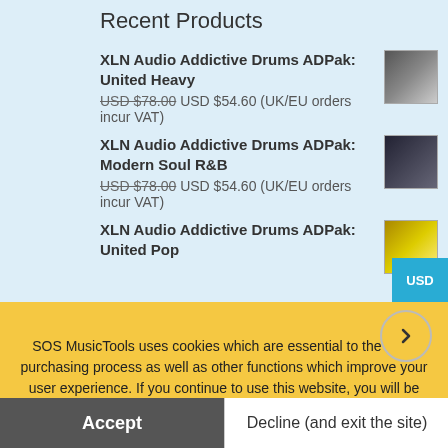Recent Products
XLN Audio Addictive Drums ADPak: United Heavy
USD $78.00 USD $54.60 (UK/EU orders incur VAT)
XLN Audio Addictive Drums ADPak: Modern Soul R&B
USD $78.00 USD $54.60 (UK/EU orders incur VAT)
XLN Audio Addictive Drums ADPak: United Pop
SOS MusicTools uses cookies which are essential to the shop purchasing process as well as other functions which improve your user experience. If you continue to use this website, you will be providing consent to our use of cookies. Privacy Policy
Accept
Decline (and exit the site)